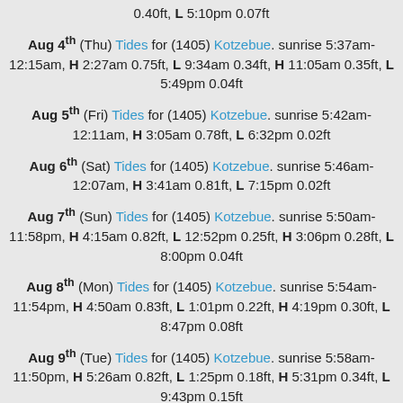0.40ft, L 5:10pm 0.07ft
Aug 4th (Thu) Tides for (1405) Kotzebue. sunrise 5:37am-12:15am, H 2:27am 0.75ft, L 9:34am 0.34ft, H 11:05am 0.35ft, L 5:49pm 0.04ft
Aug 5th (Fri) Tides for (1405) Kotzebue. sunrise 5:42am-12:11am, H 3:05am 0.78ft, L 6:32pm 0.02ft
Aug 6th (Sat) Tides for (1405) Kotzebue. sunrise 5:46am-12:07am, H 3:41am 0.81ft, L 7:15pm 0.02ft
Aug 7th (Sun) Tides for (1405) Kotzebue. sunrise 5:50am-11:58pm, H 4:15am 0.82ft, L 12:52pm 0.25ft, H 3:06pm 0.28ft, L 8:00pm 0.04ft
Aug 8th (Mon) Tides for (1405) Kotzebue. sunrise 5:54am-11:54pm, H 4:50am 0.83ft, L 1:01pm 0.22ft, H 4:19pm 0.30ft, L 8:47pm 0.08ft
Aug 9th (Tue) Tides for (1405) Kotzebue. sunrise 5:58am-11:50pm, H 5:26am 0.82ft, L 1:25pm 0.18ft, H 5:31pm 0.34ft, L 9:43pm 0.15ft
Aug 10th (Wed) Tides for (1405) Kotzebue. sunrise 6:02am-